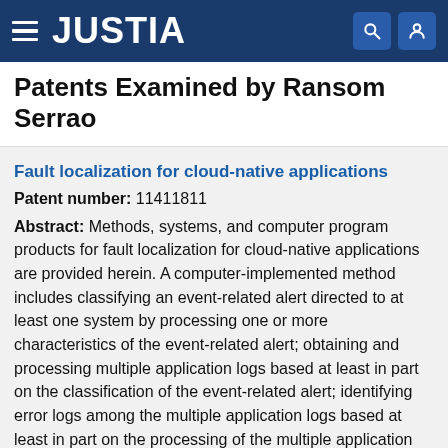JUSTIA
Patents Examined by Ransom Serrao
Fault localization for cloud-native applications
Patent number: 11411811
Abstract: Methods, systems, and computer program products for fault localization for cloud-native applications are provided herein. A computer-implemented method includes classifying an event-related alert directed to at least one system by processing one or more characteristics of the event-related alert; obtaining and processing multiple application logs based at least in part on the classification of the event-related alert; identifying error logs among the multiple application logs based at least in part on the processing of the multiple application logs; ordering the error logs using one or more